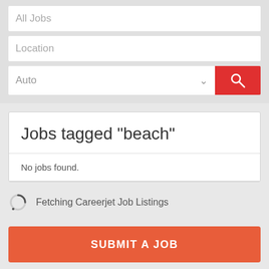[Figure (screenshot): Search input field with placeholder text 'All Jobs']
[Figure (screenshot): Search input field with placeholder text 'Location']
[Figure (screenshot): Dropdown 'Auto' with search button (magnifying glass icon on red background)]
Jobs tagged "beach"
No jobs found.
Fetching Careerjet Job Listings
SUBMIT A JOB
At Guidepost Search Group there is never a cost to you to speak with a candidate. You never have any cost up front. Why pay a retained fee and still